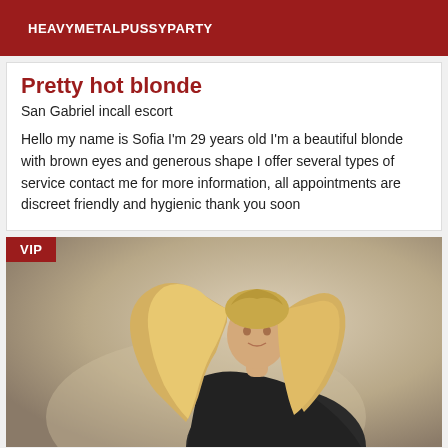HEAVYMETALPUSSYPARTY
Pretty hot blonde
San Gabriel incall escort
Hello my name is Sofia I'm 29 years old I'm a beautiful blonde with brown eyes and generous shape I offer several types of service contact me for more information, all appointments are discreet friendly and hygienic thank you soon
[Figure (photo): Blonde woman in dark jacket looking over her shoulder, VIP badge in top left corner]